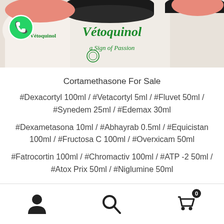[Figure (photo): Product photo showing Vétoquinol branded veterinary medication containers/jars. Green text reads 'Vétoquinol a Sign of Passion' on white/cream jars with dark lids. A WhatsApp icon (green circle with phone) appears in the top-left corner.]
Cortamethasone For Sale
#Dexacortyl 100ml / #Vetacortyl 5ml / #Fluvet 50ml / #Synedem 25ml / #Edemax 30ml
#Dexametasona 10ml / #Abhayrab 0.5ml / #Equicistan 100ml / #Fructosa C 100ml / #Overxicam 50ml
#Fatrocortin 100ml / #Chromactiv 100ml / #ATP -2 50ml / #Atox Prix 50ml / #Niglumine 50ml
User icon | Search icon | Cart icon with badge 0